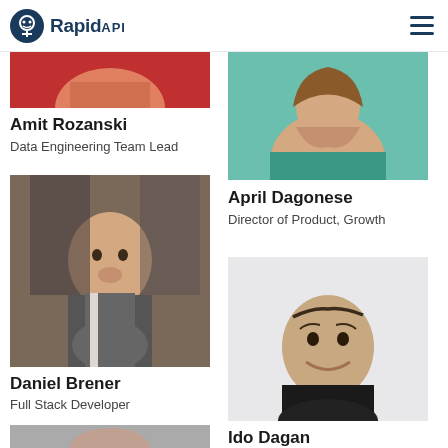RapidAPI
[Figure (photo): Partial photo of Amit Rozanski - top portion cropped, showing red/maroon background]
Amit Rozanski
Data Engineering Team Lead
[Figure (photo): Daniel Brener selfie photo with bear/animal in background]
Daniel Brener
Full Stack Developer
[Figure (photo): Partial photo at bottom left, person's head partially visible]
[Figure (photo): April Dagonese photo - upper body in teal top, brown hair]
April Dagonese
Director of Product, Growth
[Figure (photo): Ido Dagan smiling photo, dark hair, black top, light background]
Ido Dagan
Technical Program